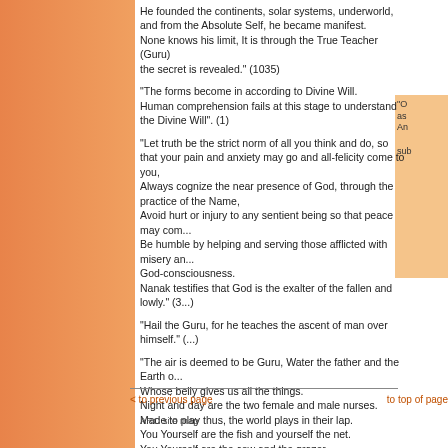He founded the continents, solar systems, underworld, and from the Absolute Self, he became manifest. None knows his limit, It is through the True Teacher (Guru) the secret is revealed." (1035)
"The forms become in according to Divine Will. Human comprehension fails at this stage to understand the Divine Will". (1)
"Let truth be the strict norm of all you think and do, so that your pain and anxiety may go and all-felicity come to you,
Always cognize the near presence of God, through the practice of the Name,
Avoid hurt or injury to any sentient being so that peace may com...
Be humble by helping and serving those afflicted with misery an... God-consciousness.
Nanak testifies that God is the exalter of the fallen and lowly." (3...)
"Hail the Guru, for he teaches the ascent of man over himself." (...)
"The air is deemed to be Guru, Water the father and the Earth o...
Whose belly gives us all the things.
Night and day are the two female and male nurses.
Made to play thus, the world plays in their lap.
You Yourself are the fish and yourself the net.
You Yourself are the cow and the grazer
Your light pervades in all the beings of the world just as lord has...
All of these extracts are from the Guru Granth Sahib
< to previous page    to top of page
ARC site map